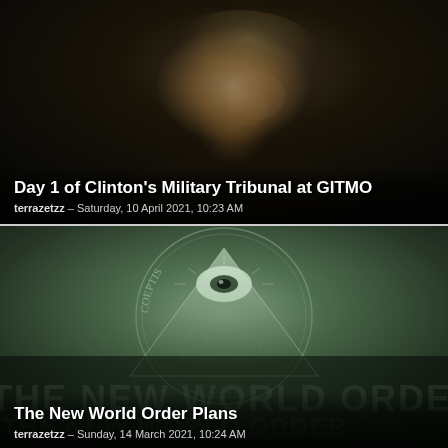[Figure (photo): Dark portrait photograph of a woman in profile (side view), facing left, with blonde hair, against a very dark nearly black background.]
Day 1 of Clinton's Military Tribunal at GITMO
terrazetzz – Saturday, 10 April 2021, 10:23 AM
[Figure (photo): Close-up of a US dollar bill showing the Eye of Providence (all-seeing eye in a triangle/pyramid), in greenish tone. Overlaid text reads 'THE NEW WORLD ORDER' in large metallic letters.]
The New World Order Plans
terrazetzz – Sunday, 14 March 2021, 10:24 AM